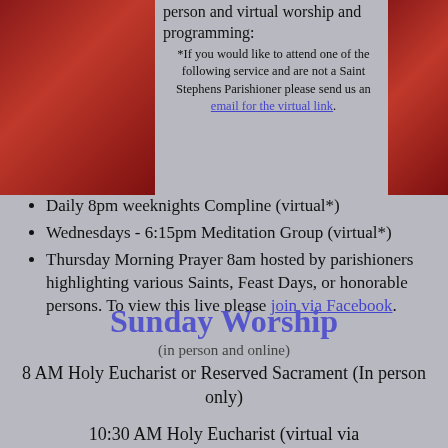person and virtual worship and programming:
*If you would like to attend one of the following service and are not a Saint Stephens Parishioner please send us an email for the virtual link.
Daily 8pm weeknights Compline (virtual*)
Wednesdays - 6:15pm Meditation Group (virtual*)
Thursday Morning Prayer 8am hosted by parishioners highlighting various Saints, Feast Days, or honorable persons. To view this live please join via Facebook.
Sunday Worship
(in person and online)
8 AM Holy Eucharist or Reserved Sacrament (In person only)
10:30 AM Holy Eucharist (virtual via